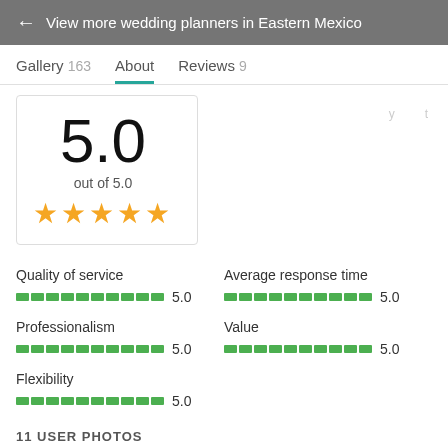← View more wedding planners in Eastern Mexico
Gallery 163   About   Reviews 9
5.0
out of 5.0
★★★★★
Quality of service
5.0
Average response time
5.0
Professionalism
5.0
Value
5.0
Flexibility
5.0
11 USER PHOTOS